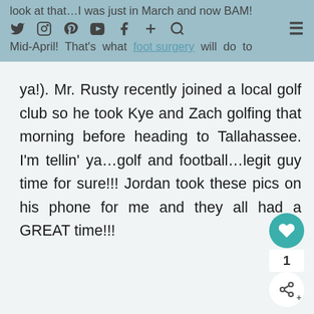look at that…I was just in March and now BAM! Mid-April! That's what foot surgery will do to ya!).
ya!). Mr. Rusty recently joined a local golf club so he took Kye and Zach golfing that morning before heading to Tallahassee. I'm tellin' ya…golf and football…legit guy time for sure!!! Jordan took these pics on his phone for me and they all had a GREAT time!!!